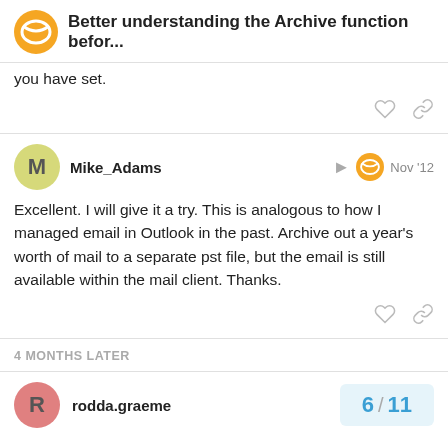Better understanding the Archive function befor...
you have set.
Mike_Adams  Nov '12
Excellent. I will give it a try. This is analogous to how I managed email in Outlook in the past. Archive out a year's worth of mail to a separate pst file, but the email is still available within the mail client. Thanks.
4 MONTHS LATER
rodda.graeme  6 / 11